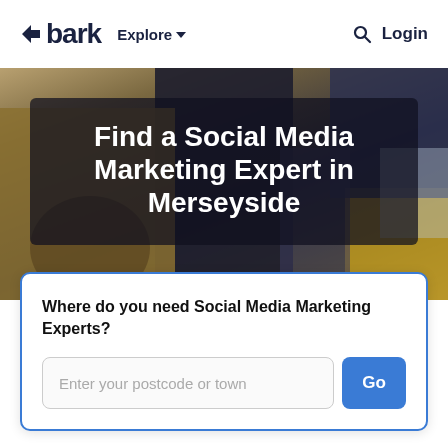bark  Explore  Login
Find a Social Media Marketing Expert in Merseyside
Where do you need Social Media Marketing Experts?